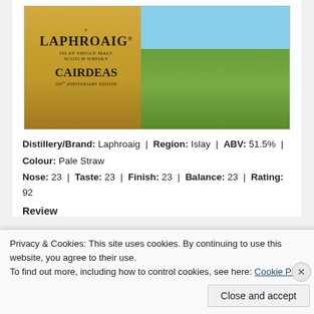[Figure (photo): Photo of a Laphroaig Cairdeas Islay Single Malt Scotch Whisky bottle in front of a green field with blue sky]
Distillery/Brand: Laphroaig | Region: Islay | ABV: 51.5% | Colour: Pale Straw
Nose: 23 | Taste: 23 | Finish: 23 | Balance: 23 | Rating: 92
Review
Privacy & Cookies: This site uses cookies. By continuing to use this website, you agree to their use.
To find out more, including how to control cookies, see here: Cookie Policy
Close and accept